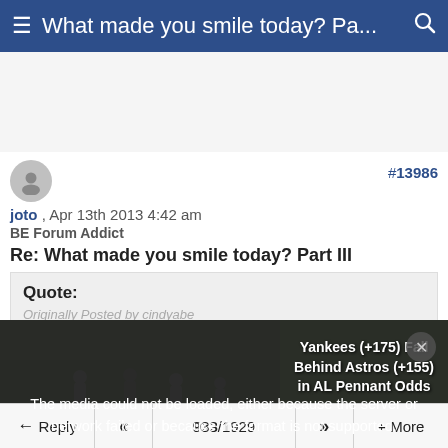≡ What made you smile today? Pa... 🔍
[Figure (screenshot): Advertisement area (blank/gray)]
#13986
joto , Apr 13th 2013 4:42 am
BE Forum Addict
Re: What made you smile today? Part III
Quote:
Originally Posted by cindyabe
[Figure (photo): Baseball players on field at night, partially obscured by media error overlay reading: 'The media could not be loaded, either because the server or network failed or because the format is not supported.' Right side shows text: 'Yankees (+175) Fall Behind Astros (+155) in AL Pennant Odds']
← Reply  «  933/1929  »  + More